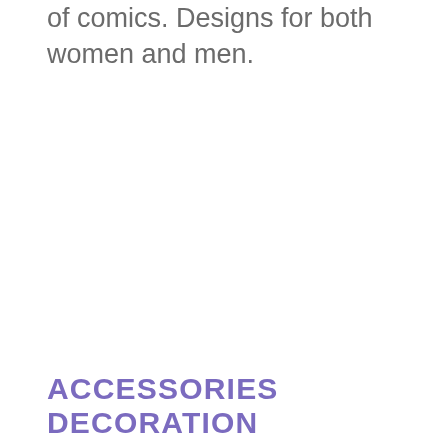of comics. Designs for both women and men.
ACCESSORIES DECORATION